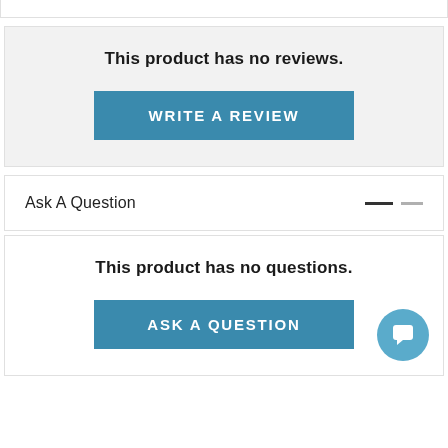This product has no reviews.
WRITE A REVIEW
Ask A Question
This product has no questions.
ASK A QUESTION